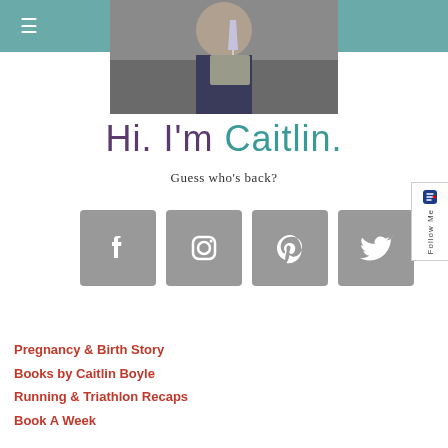≡
[Figure (photo): Photo of a person holding a champagne glass at a restaurant/bar setting]
Hi. I'm Caitlin.
Guess who's back?
[Figure (infographic): Social media icons: Facebook, Instagram, Pinterest, Twitter — grey square buttons]
Pregnancy & Birth Story
Books by Caitlin Boyle
Running & Triathlon Recaps
Book A Week